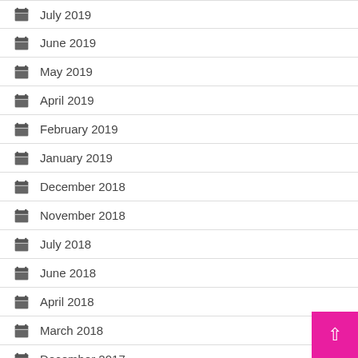July 2019
June 2019
May 2019
April 2019
February 2019
January 2019
December 2018
November 2018
July 2018
June 2018
April 2018
March 2018
December 2017